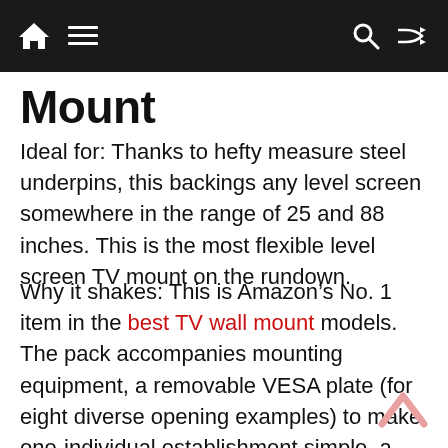Mount
Ideal for: Thanks to hefty measure steel underpins, this backings any level screen somewhere in the range of 25 and 88 inches. This is the most flexible level screen TV mount on the rundown.
Why it shakes: This is Amazon’s No. 1 item in the best TV wall mount models. The pack accompanies mounting equipment, a removable VESA plate (for eight diverse opening examples) to make one-individual establishment simple, a 10-foot HDMI Cable and an attractive air pocket level. Post-establishment level change makes hanging your TV totally an easy decision. A position of safety mount configuration withdraws